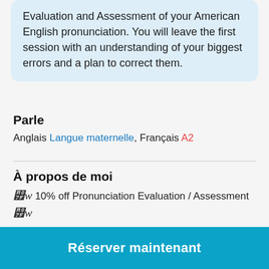Evaluation and Assessment of your American English pronunciation. You will leave the first session with an understanding of your biggest errors and a plan to correct them.
Parle
Anglais Langue maternelle, Français A2
À propos de moi
✦ 10% off Pronunciation Evaluation / Assessment ✦
ACCENT REDUCTION certified teacher. En savoir plus
Réserver maintenant